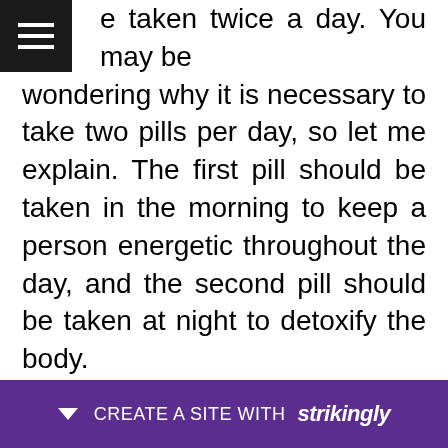e taken twice a day. You may be wondering why it is necessary to take two pills per day, so let me explain. The first pill should be taken in the morning to keep a person energetic throughout the day, and the second pill should be taken at night to detoxify the body.
The formula is available in pill form, which is the most convenient and simple way to consume health supplements. The manufacturer ensures that only high-quality ingredients are used in the formula to ensure that the right less